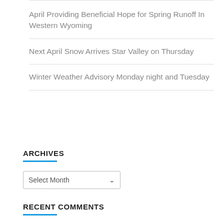April Providing Beneficial Hope for Spring Runoff In Western Wyoming
Next April Snow Arrives Star Valley on Thursday
Winter Weather Advisory Monday night and Tuesday
ARCHIVES
Select Month
RECENT COMMENTS